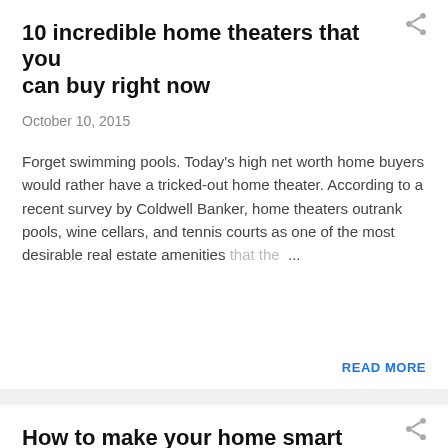10 incredible home theaters that you can buy right now
October 10, 2015
Forget swimming pools. Today's high net worth home buyers would rather have a tricked-out home theater. According to a recent survey by Coldwell Banker, home theaters outrank pools, wine cellars, and tennis courts as one of the most desirable real estate amenities that the ...
READ MORE
How to make your home smart
October 10, 2015
Panasonic announced its Smart Home system earlier this month featuring a range of components that all link to a